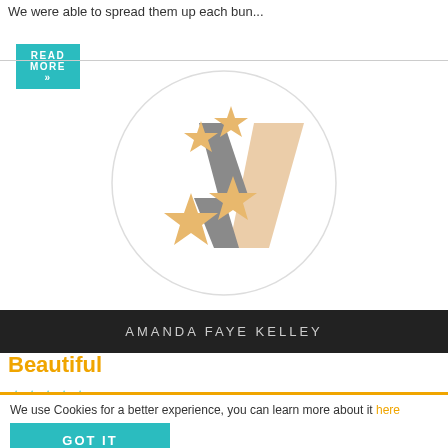We were able to spread them up each bun...
READ MORE »
[Figure (logo): Circular logo with stylized 'V' shapes in gray and tan/peach colors, surrounded by gold/tan stars]
AMANDA FAYE KELLEY
Beautiful
★★★★★ (5 stars)
We use Cookies for a better experience, you can learn more about it here
GOT IT